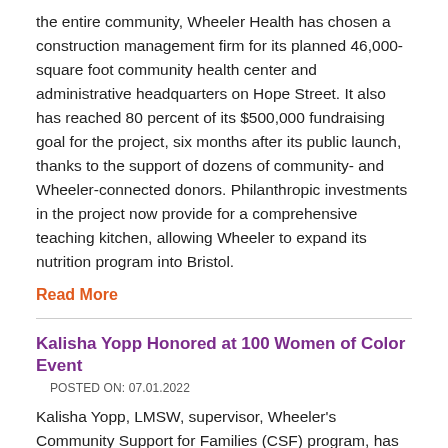the entire community, Wheeler Health has chosen a construction management firm for its planned 46,000-square foot community health center and administrative headquarters on Hope Street. It also has reached 80 percent of its $500,000 fundraising goal for the project, six months after its public launch, thanks to the support of dozens of community- and Wheeler-connected donors. Philanthropic investments in the project now provide for a comprehensive teaching kitchen, allowing Wheeler to expand its nutrition program into Bristol.
Read More
Kalisha Yopp Honored at 100 Women of Color Event
POSTED ON: 07.01.2022
Kalisha Yopp, LMSW, supervisor, Wheeler's Community Support for Families (CSF) program, has an unwavering commitment to the New Britain community, and she has dedicated her life and career